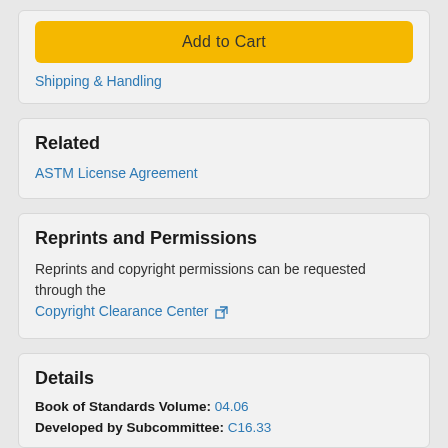Add to Cart
Shipping & Handling
Related
ASTM License Agreement
Reprints and Permissions
Reprints and copyright permissions can be requested through the Copyright Clearance Center
Details
Book of Standards Volume: 04.06
Developed by Subcommittee: C16.33